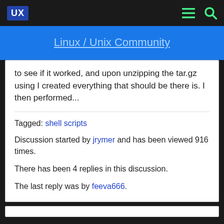UX  [menu icon]  [search icon]
Linux / Unix Community
to see if it worked, and upon unzipping the tar.gz using I created everything that should be there is. I then performed...
Tagged: shell scripts
Discussion started by jrymer and has been viewed 916 times.
There has been 4 replies in this discussion.
The last reply was by feeva666.